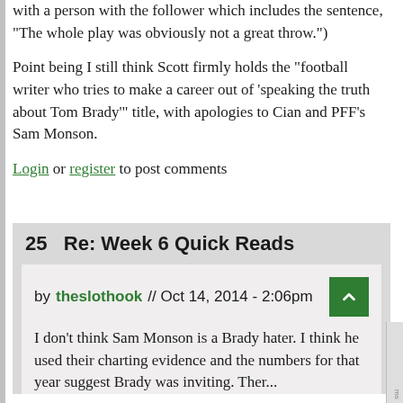with a person with the follower which includes the sentence, "The whole play was obviously not a great throw.")
Point being I still think Scott firmly holds the "football writer who tries to make a career out of 'speaking the truth about Tom Brady'" title, with apologies to Cian and PFF's Sam Monson.
Login or register to post comments
25   Re: Week 6 Quick Reads
by theslothook // Oct 14, 2014 - 2:06pm
I don't think Sam Monson is a Brady hater. I think he used their charting evidence and the numbers for that year suggest Brady was inviting. The...